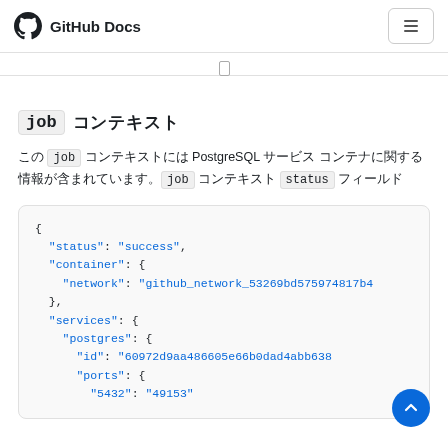GitHub Docs
job コンテキスト
この job コンテキストには PostgreSQL サービス コンテナに関する情報が含まれています。job コンテキスト status フィールド
[Figure (screenshot): JSON code block showing job context output with status, container, network, services, postgres, id, ports, and 5432 fields]